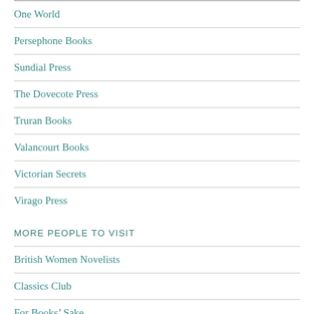One World
Persephone Books
Sundial Press
The Dovecote Press
Truran Books
Valancourt Books
Victorian Secrets
Virago Press
MORE PEOPLE TO VISIT
British Women Novelists
Classics Club
For Books’ Sake
Reading 1900 – 1950
Shiny New Books